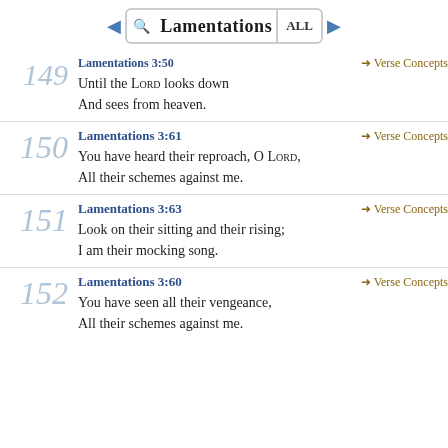◄ Lamentations ALL ►
149 Lamentations 3:50 → Verse Concepts
Until the Lord looks down
And sees from heaven.
150 Lamentations 3:61 → Verse Concepts
You have heard their reproach, O Lord,
All their schemes against me.
151 Lamentations 3:63 → Verse Concepts
Look on their sitting and their rising;
I am their mocking song.
152 Lamentations 3:60 → Verse Concepts
You have seen all their vengeance,
All their schemes against me.